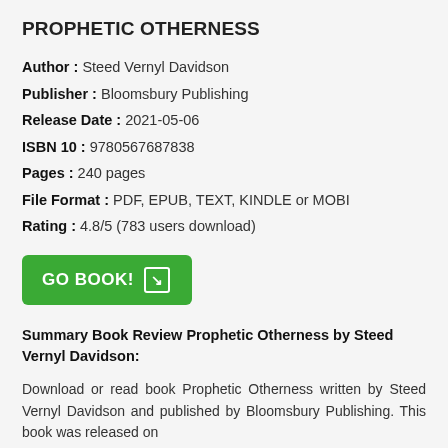PROPHETIC OTHERNESS
Author : Steed Vernyl Davidson
Publisher : Bloomsbury Publishing
Release Date : 2021-05-06
ISBN 10 : 9780567687838
Pages : 240 pages
File Format : PDF, EPUB, TEXT, KINDLE or MOBI
Rating : 4.8/5 (783 users download)
[Figure (other): Green GO BOOK! button with arrow icon]
Summary Book Review Prophetic Otherness by Steed Vernyl Davidson:
Download or read book Prophetic Otherness written by Steed Vernyl Davidson and published by Bloomsbury Publishing. This book was released on